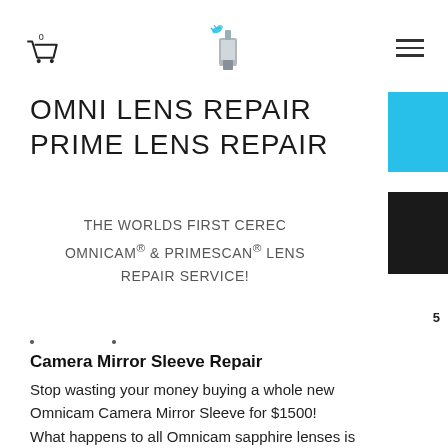[Figure (other): Navigation bar with cart icon showing 0, center logo of a dental camera device, and hamburger menu icon on the right]
OMNI LENS REPAIR
PRIME LENS REPAIR
THE WORLDS FIRST CEREC OMNICAM® & PRIMESCAN® LENS REPAIR SERVICE!
[Figure (other): Cyan/blue color swatch rectangle on the right side]
[Figure (other): Black color swatch rectangle on the right side]
5
Camera Mirror Sleeve Repair
Stop wasting your money buying a whole new Omnicam Camera Mirror Sleeve for $1500!
What happens to all Omnicam sapphire lenses is oxidation, light scratching in the coating or even the sapphire glass itself. This can make the